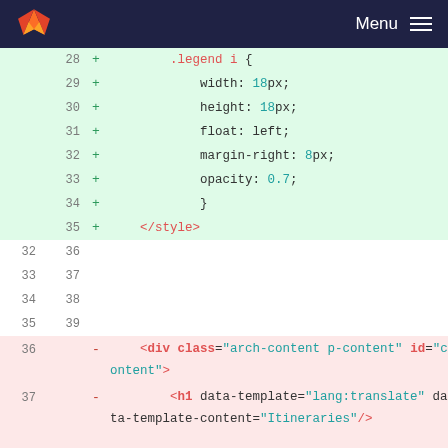GitLab Menu
[Figure (screenshot): Code diff view showing lines 28-40 of a file with added lines (green background) for CSS .legend i styles and removed lines (red background) for HTML template markup]
28 + .legend i {
29 + width: 18px;
30 + height: 18px;
31 + float: left;
32 + margin-right: 8px;
33 + opacity: 0.7;
34 + }
35 + </style>
32 36
33 37
34 38
35 39
36 - <div class="arch-content p-content" id="content">
37 - <h1 data-template="lang:translate" data-template-content="Itineraries"/>
38 -
39 -
40 - <div class="arch-list-view-